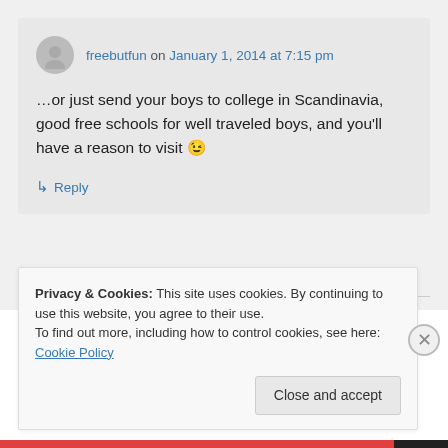freebutfun on January 1, 2014 at 7:15 pm
…or just send your boys to college in Scandinavia, good free schools for well traveled boys, and you'll have a reason to visit 😉
↳ Reply
Privacy & Cookies: This site uses cookies. By continuing to use this website, you agree to their use.
To find out more, including how to control cookies, see here: Cookie Policy
Close and accept